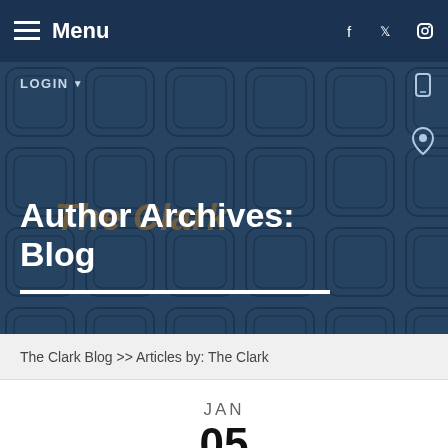≡ Menu
[Figure (screenshot): Hero banner with puzzle-tile pattern background in dark blue, LOGIN button top-left, phone and location icons top-right, watermark 'The Clark' in brown italic, title 'Author Archives: Blog' in white bold, white underline below title]
Author Archives: Blog
The Clark Blog >> Articles by: The Clark
JAN
05
2022